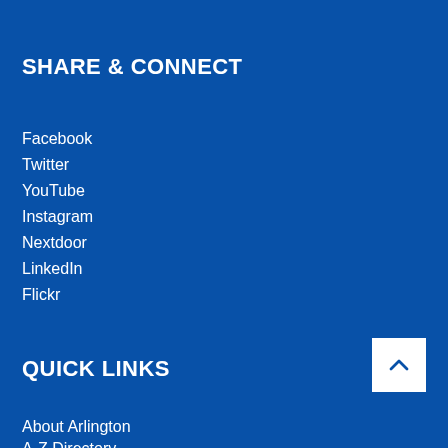SHARE & CONNECT
Facebook
Twitter
YouTube
Instagram
Nextdoor
LinkedIn
Flickr
QUICK LINKS
About Arlington
A-Z Directory